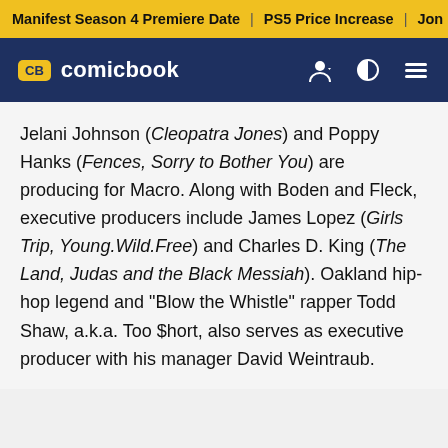Manifest Season 4 Premiere Date | PS5 Price Increase | Jon M
[Figure (logo): CB comicbook logo on dark navy navigation bar with user icon, brightness toggle, and hamburger menu]
Jelani Johnson (Cleopatra Jones) and Poppy Hanks (Fences, Sorry to Bother You) are producing for Macro. Along with Boden and Fleck, executive producers include James Lopez (Girls Trip, Young.Wild.Free) and Charles D. King (The Land, Judas and the Black Messiah). Oakland hip-hop legend and "Blow the Whistle" rapper Todd Shaw, a.k.a. Too $hort, also serves as executive producer with his manager David Weintraub.